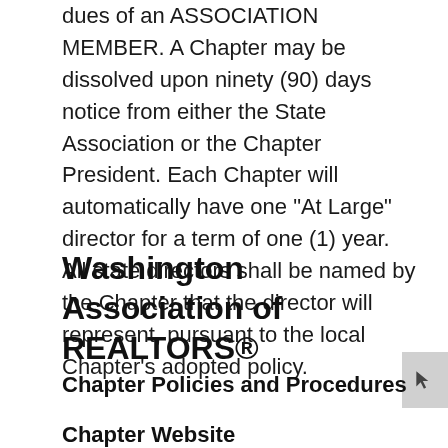dues of an ASSOCIATION MEMBER. A Chapter may be dissolved upon ninety (90) days notice from either the State Association or the Chapter President. Each Chapter will automatically have one "At Large" director for a term of one (1) year. All state directors shall be named by the Chapter that the director will represent, pursuant to the local Chapter's adopted policy.
Washington Association of REALTORS®
Chapter Policies and Procedures
Chapter Website